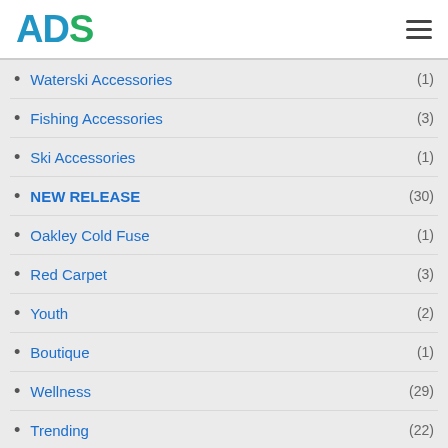ADS
Waterski Accessories (1)
Fishing Accessories (3)
Ski Accessories (1)
NEW RELEASE (30)
Oakley Cold Fuse (1)
Red Carpet (3)
Youth (2)
Boutique (1)
Wellness (29)
Trending (22)
Our Champions (4)
Call Now